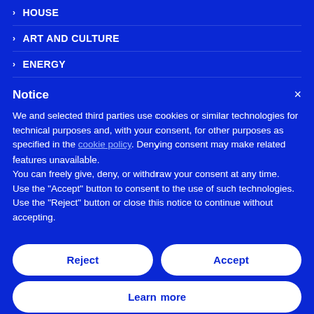> HOUSE
> ART AND CULTURE
> ENERGY
Notice
We and selected third parties use cookies or similar technologies for technical purposes and, with your consent, for other purposes as specified in the cookie policy. Denying consent may make related features unavailable.
You can freely give, deny, or withdraw your consent at any time.
Use the “Accept” button to consent to the use of such technologies. Use the “Reject” button or close this notice to continue without accepting.
Reject
Accept
Learn more